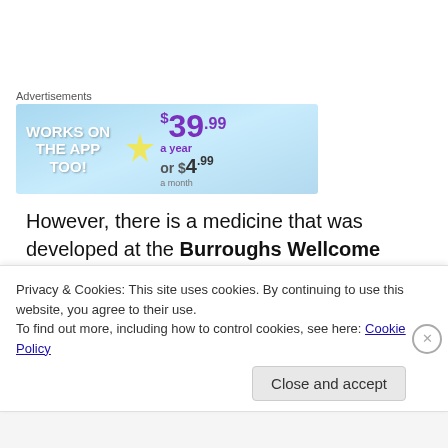[Figure (other): Advertisement banner showing 'WORKS ON THE APP TOO!' with pricing $39.99 a year or $4.99 a month on a light blue background]
However, there is a medicine that was developed at the Burroughs Wellcome Company that could halt the progression of the disease, but Burroughs Wellcome has just been acquired by Glaxo Wellcome. They made a
Privacy & Cookies: This site uses cookies. By continuing to use this website, you agree to their use.
To find out more, including how to control cookies, see here: Cookie Policy
Close and accept